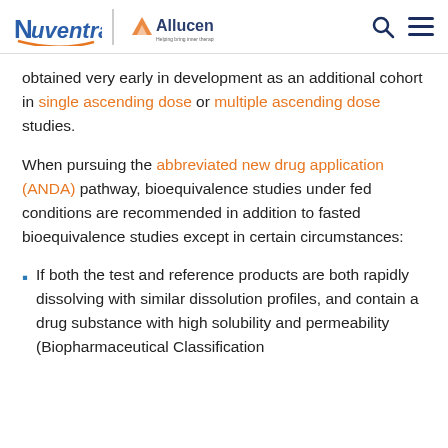Nuventra | Allucent
obtained very early in development as an additional cohort in single ascending dose or multiple ascending dose studies.
When pursuing the abbreviated new drug application (ANDA) pathway, bioequivalence studies under fed conditions are recommended in addition to fasted bioequivalence studies except in certain circumstances:
If both the test and reference products are both rapidly dissolving with similar dissolution profiles, and contain a drug substance with high solubility and permeability (Biopharmaceutical Classification